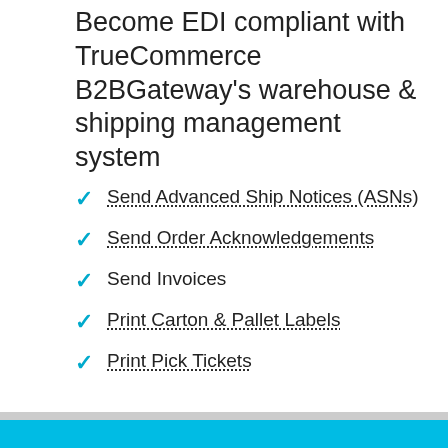Become EDI compliant with TrueCommerce B2BGateway's warehouse & shipping management system
Send Advanced Ship Notices (ASNs)
Send Order Acknowledgements
Send Invoices
Print Carton & Pallet Labels
Print Pick Tickets
LEARN MORE ABOUT THE WAREHOUSE SUPPORT SITE